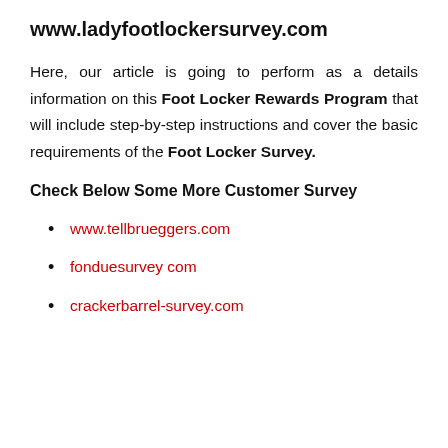www.ladyfootlockersurvey.com
Here, our article is going to perform as a details information on this Foot Locker Rewards Program that will include step-by-step instructions and cover the basic requirements of the Foot Locker Survey.
Check Below Some More Customer Survey
www.tellbrueggers.com
fonduesurvey com
crackerbarrel-survey.com